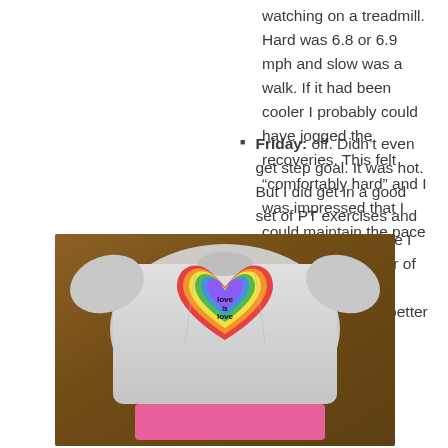watching on a treadmill. Hard was 6.8 or 6.9 mph and slow was a walk. If it had been cooler I probably could have jogged the recoveries. This felt “comfortably hard” and I was impressed that I could maintain the pace of the hards.
Friday: off. Didn’t even get step goal. It was hot. But I did get in a good set of PT exercises and in a pleasant surprise I ran into the manager of my old gym at the secondary branch (better AC) of my new gym.
[Figure (photo): Photo of a gray athletic t-shirt with a rainbow heart logo reading 'love is love' in the center, laid on a wooden surface with pink shorts/socks visible underneath]